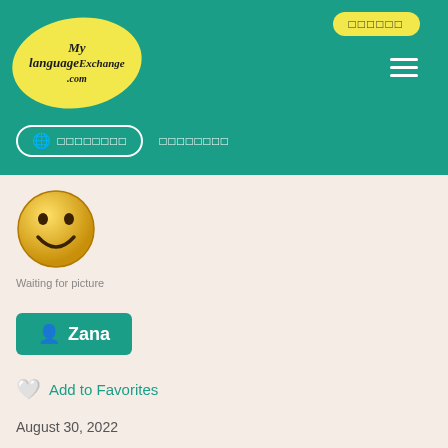MyLanguageExchange.com navigation header
[Figure (illustration): Smiley face emoji profile picture placeholder with text 'Waiting for picture']
Zana
Add to Favorites
August 30, 2022
□(□□)
Iraq
(Erbil)
□□ □□
□□□□
□□□□□□ □□
□□